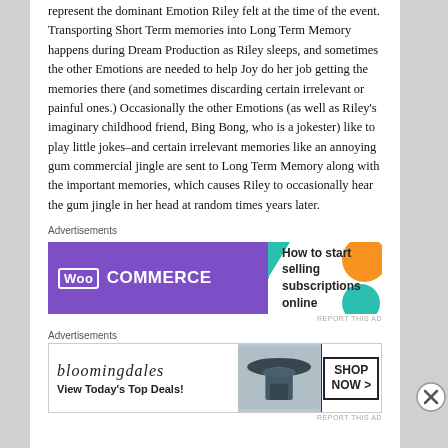represent the dominant Emotion Riley felt at the time of the event. Transporting Short Term memories into Long Term Memory happens during Dream Production as Riley sleeps, and sometimes the other Emotions are needed to help Joy do her job getting the memories there (and sometimes discarding certain irrelevant or painful ones.) Occasionally the other Emotions (as well as Riley's imaginary childhood friend, Bing Bong, who is a jokester) like to play little jokes–and certain irrelevant memories like an annoying gum commercial jingle are sent to Long Term Memory along with the important memories, which causes Riley to occasionally hear the gum jingle in her head at random times years later.
Advertisements
[Figure (screenshot): WooCommerce advertisement banner: purple background with WooCommerce logo on left, teal arrow shape, white right panel with text 'How to start selling subscriptions online', orange and teal decorative circles]
Advertisements
[Figure (screenshot): Bloomingdale's advertisement banner: white background with Bloomingdale's italic logo, 'View Today's Top Deals!' text, woman with wide brim hat image in center, 'SHOP NOW >' button on right]